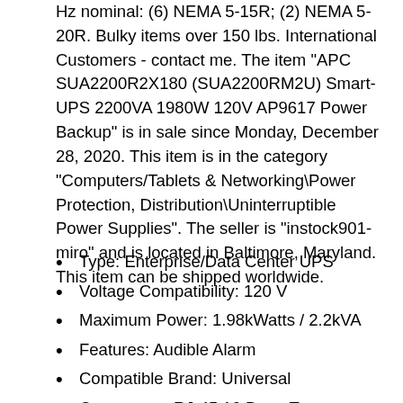Hz nominal: (6) NEMA 5-15R; (2) NEMA 5-20R. Bulky items over 150 lbs. International Customers - contact me. The item "APC SUA2200R2X180 (SUA2200RM2U) Smart-UPS 2200VA 1980W 120V AP9617 Power Backup" is in sale since Monday, December 28, 2020. This item is in the category "Computers/Tablets & Networking\Power Protection, Distribution\Uninterruptible Power Supplies". The seller is "instock901-miro" and is located in Baltimore, Maryland. This item can be shipped worldwide.
Type: Enterprise/Data Center UPS
Voltage Compatibility: 120 V
Maximum Power: 1.98kWatts / 2.2kVA
Features: Audible Alarm
Compatible Brand: Universal
Connectors: RJ-45 10 Base-T
Maximum Wattage: 1.98kWatts / 2.2kVA
Modular: No
Maximum Input Current: 20 A